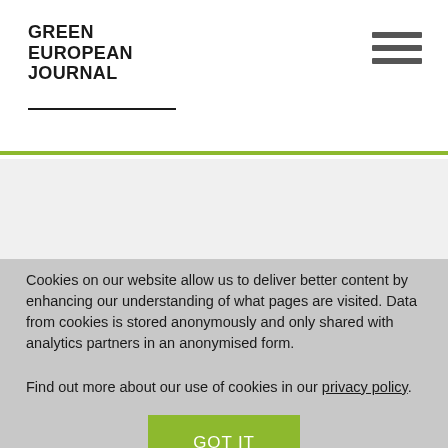GREEN EUROPEAN JOURNAL
[Figure (other): Large green quotation mark with a green horizontal line, on a light gray background with a green left border bar]
Cookies on our website allow us to deliver better content by enhancing our understanding of what pages are visited. Data from cookies is stored anonymously and only shared with analytics partners in an anonymised form.
Find out more about our use of cookies in our privacy policy.